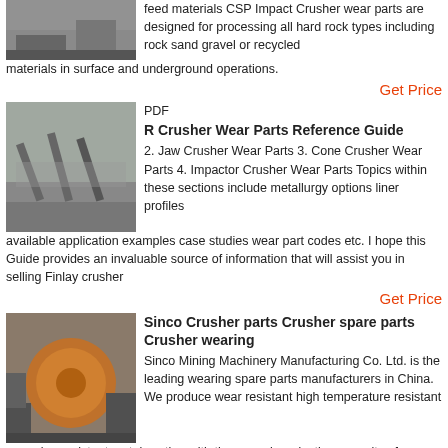[Figure (photo): Industrial mining/crushing equipment site photo (partial, top of page)]
feed materials CSP Impact Crusher wear parts are designed for processing all hard rock types including rock sand gravel or recycled materials in surface and underground operations.
Get Price
[Figure (photo): Crushing/screening plant with conveyor belts at a mining site]
PDF
R Crusher Wear Parts Reference Guide
2. Jaw Crusher Wear Parts 3. Cone Crusher Wear Parts 4. Impactor Crusher Wear Parts Topics within these sections include metallurgy options liner profiles available application examples case studies wear part codes etc. I hope this Guide provides an invaluable source of information that will assist you in selling Finlay crusher
Get Price
[Figure (photo): Sinco mining machinery equipment showing a large cylindrical drum/ball mill in an industrial setting]
Sinco Crusher parts Crusher spare parts Crusher wearing
Sinco Mining Machinery Manufacturing Co. Ltd. is the leading wearing spare parts manufacturers in China. We produce wear resistant high temperature resistant corrosion resistant metal casting with the annual production capacity of over 15 000 tons. Our casting foundry located in Xinyu City Jiangxi Province 3hous by high